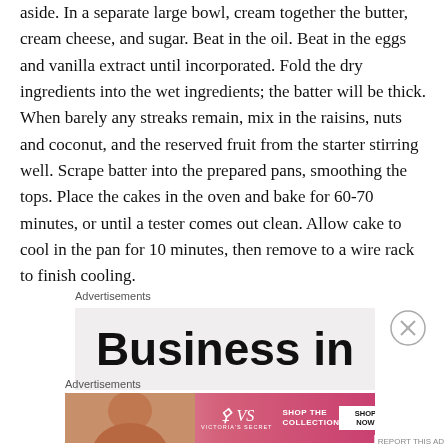aside.  In a separate large bowl, cream together the butter, cream cheese, and sugar.  Beat in the oil. Beat in the eggs and vanilla extract until incorporated.  Fold the dry ingredients into the wet ingredients; the batter will be thick.  When barely any streaks remain, mix in the raisins, nuts and coconut, and the reserved fruit from the starter stirring well.  Scrape batter into the prepared pans, smoothing the tops.  Place the cakes in the oven and bake for 60-70 minutes, or until a tester comes out clean. Allow cake to cool in the pan for 10 minutes, then remove to a wire rack to finish cooling.
Advertisements
[Figure (other): Advertisement banner showing 'Business in' text in large bold font on light gray background]
Advertisements
[Figure (other): Victoria's Secret advertisement with woman's photo, VS logo, 'SHOP THE COLLECTION' text, and 'SHOP NOW' button on pink/red gradient background]